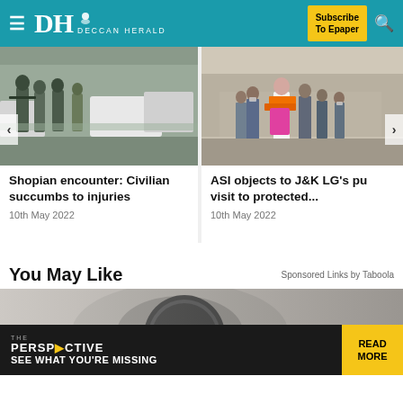DH DECCAN HERALD | Subscribe To Epaper
[Figure (photo): Armed soldiers/security forces in camouflage gear near vehicles]
Shopian encounter: Civilian succumbs to injuries
10th May 2022
[Figure (photo): Political figure in orange sash walking with crowd of people]
ASI objects to J&K LG's pu visit to protected...
10th May 2022
You May Like
Sponsored Links by Taboola
[Figure (photo): Close-up of a car emblem/steering wheel area, part of sponsored content]
[Figure (screenshot): The Perspective advertisement banner: SEE WHAT YOU'RE MISSING | READ MORE]